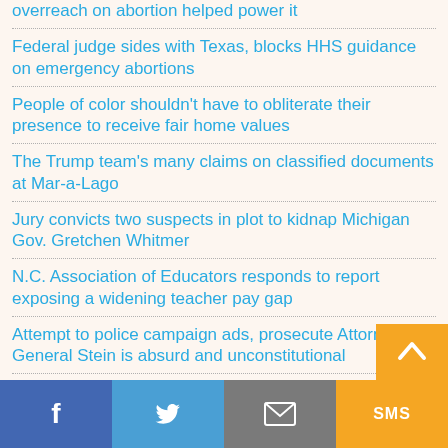overreach on abortion helped power it
Federal judge sides with Texas, blocks HHS guidance on emergency abortions
People of color shouldn't have to obliterate their presence to receive fair home values
The Trump team's many claims on classified documents at Mar-a-Lago
Jury convicts two suspects in plot to kidnap Michigan Gov. Gretchen Whitmer
N.C. Association of Educators responds to report exposing a widening teacher pay gap
Attempt to police campaign ads, prosecute Attorney General Stein is absurd and unconstitutional